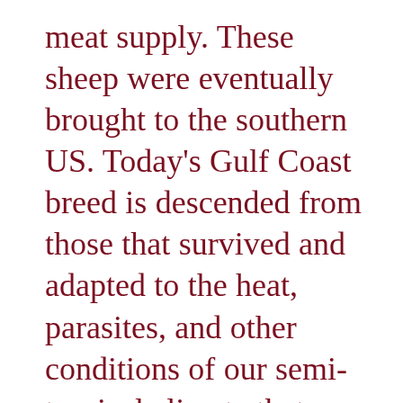meat supply. These sheep were eventually brought to the southern US. Today's Gulf Coast breed is descended from those that survived and adapted to the heat, parasites, and other conditions of our semi-tropical climate that are perilous to other sheep. Raising other sheep breeds here is impractical, if not impossible if they don't also have super-impervious immune systems. As parasites have become so resistant to commercial, chemical de-wormers, having a naturally resistant breed is that much